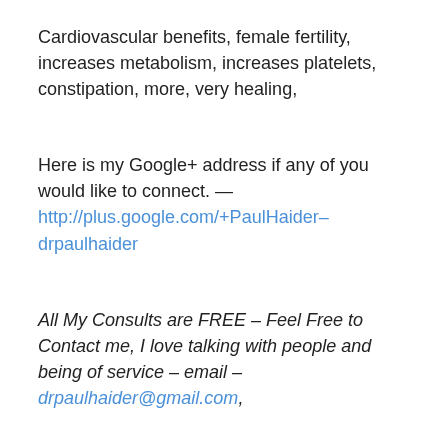Cardiovascular benefits, female fertility, increases metabolism, increases platelets, constipation, more, very healing,
Here is my Google+ address if any of you would like to connect. — http://plus.google.com/+PaulHaider–drpaulhaider
All My Consults are FREE – Feel Free to Contact me, I love talking with people and being of service – email – drpaulhaider@gmail.com,
Skype – drpaulhaider – and my cell phone is (831) 869-9119 – EST Time Zone.
*** Your Donations are Greatly Appreciated – Donate to Dr. Haider via www.Paypal.com using the Paypal address — drpaulhaider@gmail.com